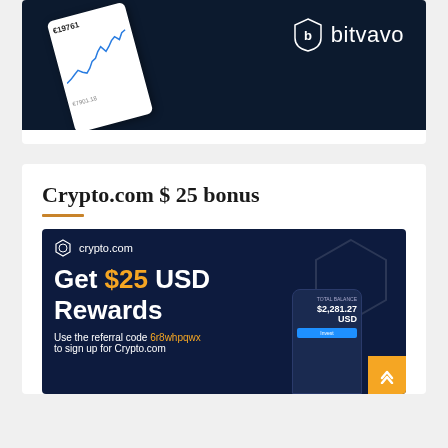[Figure (screenshot): Bitvavo crypto exchange banner with dark navy background, a tilted phone showing a price chart (€19761) and the Bitvavo shield logo with brand name in white text]
Crypto.com $ 25 bonus
[Figure (screenshot): Crypto.com promotional banner on dark navy background showing 'Get $25 USD Rewards' text with $25 in orange, referral code '6r8whpqwx', crypto.com logo, phone mockup showing $2,281.27 USD balance, and orange scroll-to-top button]